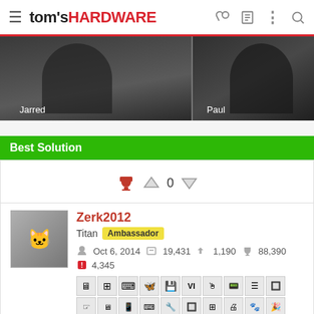tom's HARDWARE
[Figure (photo): Two people (Jarred and Paul) shown in a split photo strip with dark background]
Best Solution
[Figure (other): Vote trophy icon with up-arrow, count 0, and down-arrow]
Zerk2012
Titan Ambassador
Oct 6, 2014  19,431  1,190  88,390
4,345
[badge icons row 1]
[badge icons row 2]